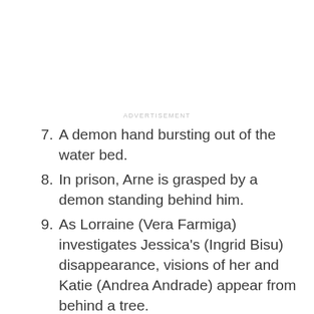ADVERTISEMENT
7. A demon hand bursting out of the water bed.
8. In prison, Arne is grasped by a demon standing behind him.
9. As Lorraine (Vera Farmiga) investigates Jessica's (Ingrid Bisu) disappearance, visions of her and Katie (Andrea Andrade) appear from behind a tree.
10. A demon grabbing Lorraine's ankle as she stands on the edge of a cliff (as seen in the